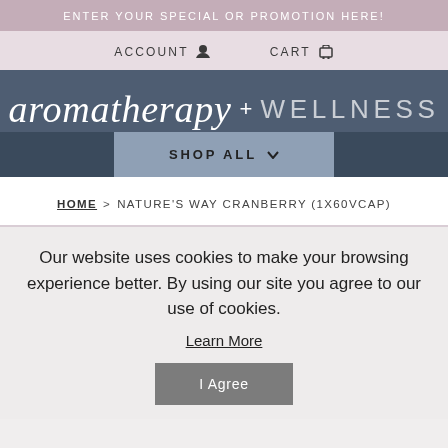ENTER YOUR SPECIAL OR PROMOTION HERE!
ACCOUNT  CART
aromatherapy + WELLNESS
SHOP ALL
HOME > NATURE'S WAY CRANBERRY (1X60VCAP)
Our website uses cookies to make your browsing experience better. By using our site you agree to our use of cookies. Learn More
I Agree